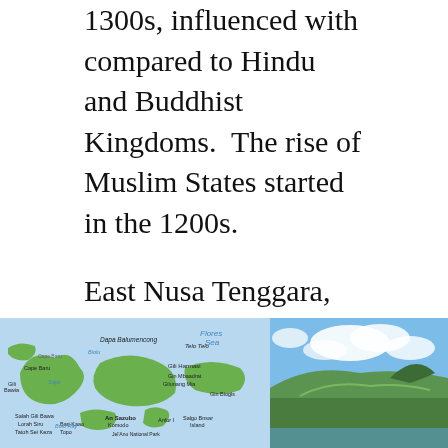1300s, influenced with compared to Hindu and Buddhist Kingdoms.  The rise of Muslim States started in the 1200s.
East Nusa Tenggara, however, is the only province in Indonesia that is predominantly Roman Catholic with its early colonization by the Portuguese.
This province includes Komodo Island in the Lesser Sunda Islands, which is a national park, and home of the largest lizard on earth, the Komodo dragon.
[Figure (map): Map of Komodo Island and surrounding Lesser Sunda Islands area, showing Flores Sea, with green landmasses and blue water, labeled with local place names including Komodo, Flores, Cape Baru, Gili Bawa, and other geographical features.]
[Figure (photo): Photograph of scenic hilly landscape near Komodo area with blue sky, white clouds, green hills and coastal water visible.]